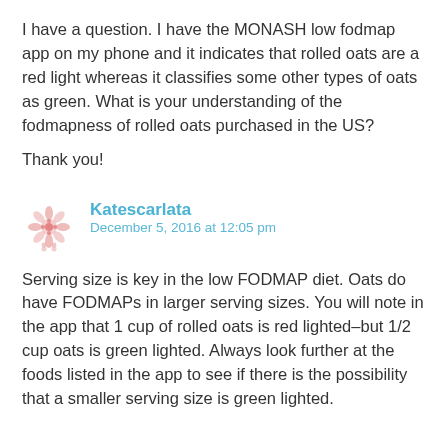I have a question. I have the MONASH low fodmap app on my phone and it indicates that rolled oats are a red light whereas it classifies some other types of oats as green. What is your understanding of the fodmapness of rolled oats purchased in the US?
Thank you!
Katescarlata
December 5, 2016 at 12:05 pm
Serving size is key in the low FODMAP diet. Oats do have FODMAPs in larger serving sizes. You will note in the app that 1 cup of rolled oats is red lighted–but 1/2 cup oats is green lighted. Always look further at the foods listed in the app to see if there is the possibility that a smaller serving size is green lighted.